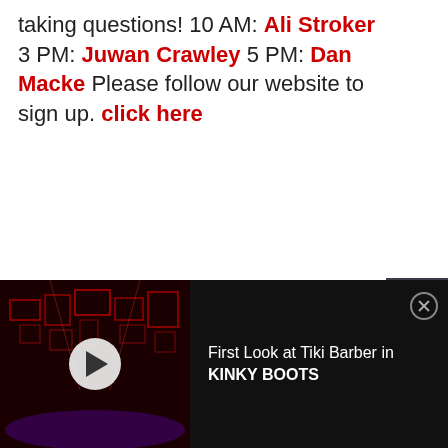taking questions! 10 AM: Ali Stroker 3 PM: Juwan Crawley 5 PM: Dan Macke Please follow our website to sign up. click here
[Figure (other): Social share sidebar with Twitter and Facebook icons on dark background]
[Figure (screenshot): Video player bar at bottom showing a dark stage with red lighting, play button overlay, and text 'First Look at Tiki Barber in KINKY BOOTS' with a close (X) button]